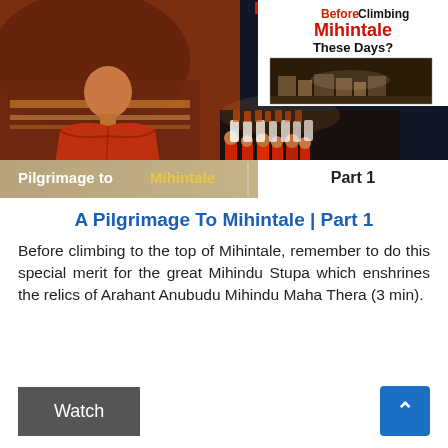[Figure (photo): Hero image showing Buddhist monks at a ceremony at Mihintale; a monk in red robes in the foreground on the left; rows of monks seated at a night ceremony in the center; a text banner overlay on the right reading 'Before Climbing Mihintale These Days?' with a small image of stone ruins; a strip banner at the bottom reads 'Pilgrimage to Mihintale | Part 1']
A Pilgrimage To Mihintale | Part 1
Before climbing to the top of Mihintale, remember to do this special merit for the great Mihindu Stupa which enshrines the relics of Arahant Anubudu Mihindu Maha Thera (3 min).
Watch